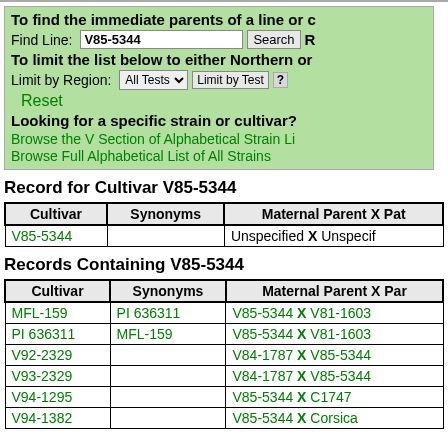To find the immediate parents of a line or c...
Find Line: V85-5344 [Search] [R...]
To limit the list below to either Northern or...
Limit by Region: All Tests  Limit by Test  ?
Reset
Looking for a specific strain or cultivar?
Browse the V Section of Alphabetical Strain Li...
Browse Full Alphabetical List of All Strains
Record for Cultivar V85-5344
| Cultivar | Synonyms | Maternal Parent X Pat... |
| --- | --- | --- |
| V85-5344 |  | Unspecified X Unspecif... |
Records Containing V85-5344
| Cultivar | Synonyms | Maternal Parent X Par... |
| --- | --- | --- |
| MFL-159 | PI 636311 | V85-5344 X V81-1603... |
| PI 636311 | MFL-159 | V85-5344 X V81-1603... |
| V92-2329 |  | V84-1787 X V85-5344... |
| V93-2329 |  | V84-1787 X V85-5344... |
| V94-1295 |  | V85-5344 X C1747 |
| V94-1382 |  | V85-5344 X Corsica |